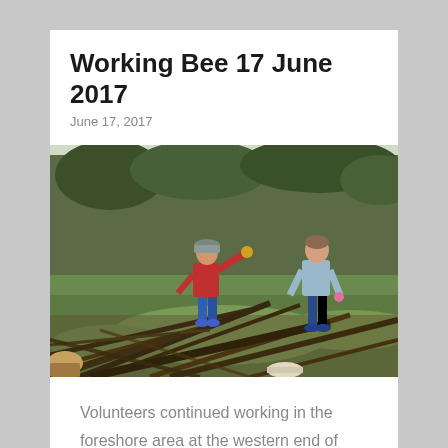Working Bee 17 June 2017
June 17, 2017
[Figure (photo): Two volunteers working in an overgrown foreshore area, clearing branches and brush. One person in a red top and blue pants with a cap and yellow gloves, another in a light blue top and jeans with pink gloves, surrounded by piles of cut branches and green grass.]
Volunteers continued working in the foreshore area at the western end of Undertow Bay. This area is located between